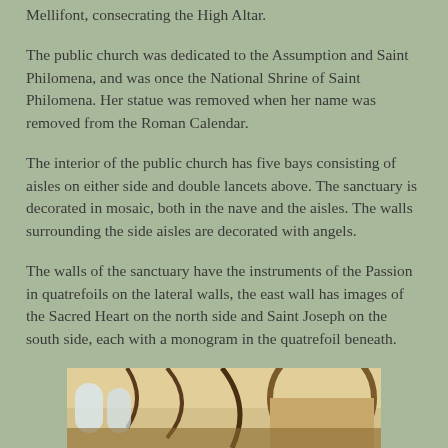Mellifont, consecrating the High Altar.
The public church was dedicated to the Assumption and Saint Philomena, and was once the National Shrine of Saint Philomena. Her statue was removed when her name was removed from the Roman Calendar.
The interior of the public church has five bays consisting of aisles on either side and double lancets above. The sanctuary is decorated in mosaic, both in the nave and the aisles. The walls surrounding the side aisles are decorated with angels.
The walls of the sanctuary have the instruments of the Passion in quatrefoils on the lateral walls, the east wall has images of the Sacred Heart on the north side and Saint Joseph on the south side, each with a monogram in the quatrefoil beneath.
[Figure (photo): Interior view of a church showing arched ceilings and architectural details with warm yellow/ochre tones]